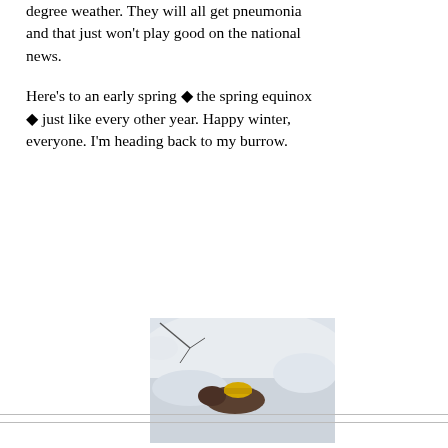degree weather. They will all get pneumonia and that just won't play good on the national news.
Here's to an early spring ◆ the spring equinox ◆ just like every other year. Happy winter, everyone. I'm heading back to my burrow.
[Figure (photo): A small animal (possibly a groundhog or similar) lying in snow, wearing or next to a yellow hard hat or helmet.]
Hazardous winter weather. Helmet required.
(taken by Stormy on February 02, 2016)